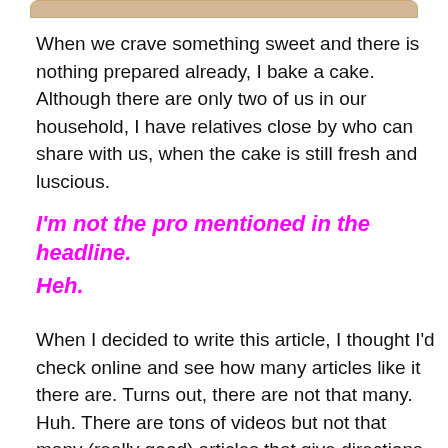[Figure (photo): Partial image of a cake or baked good visible at the top of the page, cropped]
When we crave something sweet and there is nothing prepared already, I bake a cake.  Although there are only two of us in our household, I have relatives close by who can share with us, when the cake is still fresh and luscious.
I'm not the pro mentioned in the headline.
Heh.
When I decided to write this article, I thought I'd check online and see how many articles like it there are. Turns out, there are not that many. Huh. There are tons of videos but not that many (really good) articles that give directions in writing.  Even with that, I read a few of the articles I did